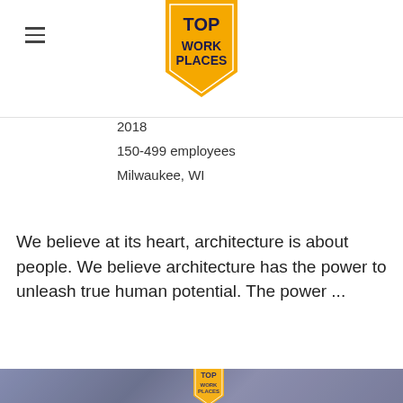TOP WORK PLACES
2018
150-499 employees
Milwaukee, WI
We believe at its heart, architecture is about people. We believe architecture has the power to unleash true human potential. The power ...
View Company Profile
[Figure (photo): Office building interior photo with Top Work Places badge overlay and Energage powered-by logo, shown with a dark blue-gray tint overlay]